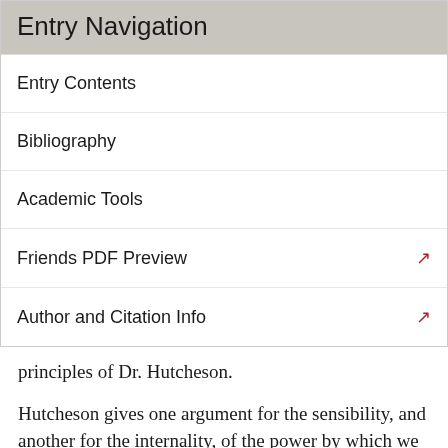Entry Navigation
Entry Contents
Bibliography
Academic Tools
Friends PDF Preview
Author and Citation Info
principles of Dr. Hutcheson.
Hutcheson gives one argument for the sensibility, and another for the internality, of the power by which we discern beauty. His argument for its sensibility is largely a systematization and amplification of Shaftesbury's. That the discernment of beauty is sensible follows from the immediacy, necessity, and disinterestedness of the arising of the pleasure by which beauty is discerned:
This superior Power of Perception is justly called a Sense, because of its Affinity to the other Senses in